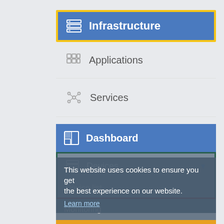[Figure (screenshot): Navigation menu UI screenshot showing Infrastructure (selected with gold border), Applications, Services menu items; then a Dashboard section with Devices submenu expanded showing Device list and Monitoring items; a Manage row with orange background; Auto Scale row; overlaid with a cookie consent notice reading 'This website uses cookies to ensure you get the best experience on our website. Learn more' with a 'Got it!' button.]